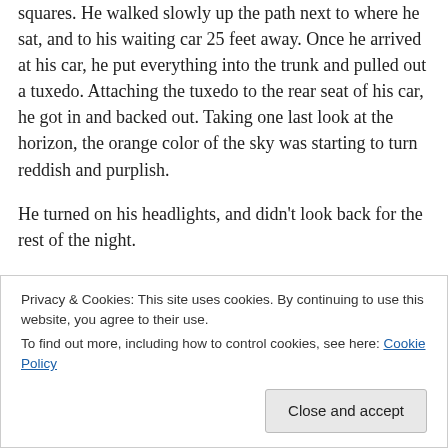squares. He walked slowly up the path next to where he sat, and to his waiting car 25 feet away. Once he arrived at his car, he put everything into the trunk and pulled out a tuxedo. Attaching the tuxedo to the rear seat of his car, he got in and backed out. Taking one last look at the horizon, the orange color of the sky was starting to turn reddish and purplish.
He turned on his headlights, and didn't look back for the rest of the night.
Privacy & Cookies: This site uses cookies. By continuing to use this website, you agree to their use.
To find out more, including how to control cookies, see here: Cookie Policy
Close and accept